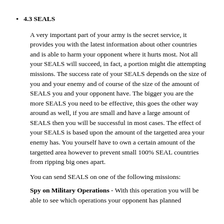4.3 SEALS
A very important part of your army is the secret service, it provides you with the latest information about other countries and is able to harm your opponent where it hurts most. Not all your SEALS will succeed, in fact, a portion might die attempting missions. The success rate of your SEALS depends on the size of you and your enemy and of course of the size of the amount of SEALS you and your opponent have. The bigger you are the more SEALS you need to be effective, this goes the other way around as well, if you are small and have a large amount of SEALS then you will be successful in most cases. The effect of your SEALS is based upon the amount of the targetted area your enemy has. You yourself have to own a certain amount of the targetted area however to prevent small 100% SEAL countries from ripping big ones apart.
You can send SEALS on one of the following missions:
Spy on Military Operations - With this operation you will be able to see which operations your opponent has planned